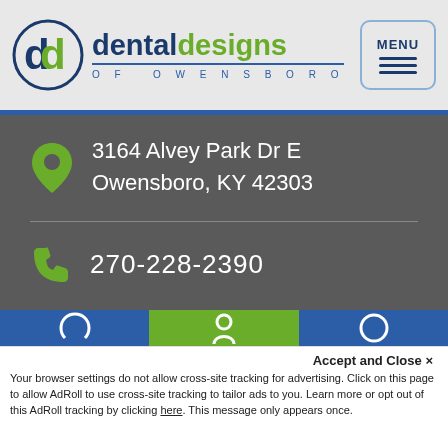[Figure (logo): Dental Designs of Owensboro logo with circular icon and text, plus MENU button]
3164 Alvey Park Dr E
Owensboro, KY 42303
270-228-2390
Accept and Close ✕
Your browser settings do not allow cross-site tracking for advertising. Click on this page to allow AdRoll to use cross-site tracking to tailor ads to you. Learn more or opt out of this AdRoll tracking by clicking here. This message only appears once.